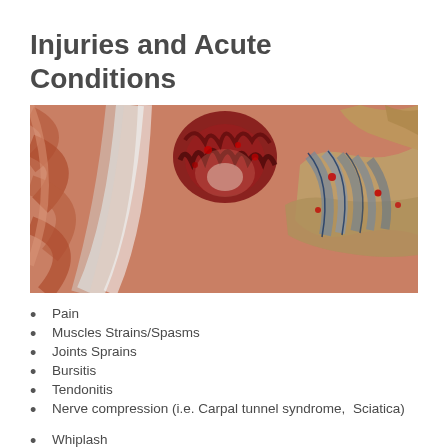Injuries and Acute Conditions
[Figure (illustration): Medical illustration showing close-up anatomical views of muscle and joint injuries, including torn muscle tissue with red inflammation on the left and a joint/tendon injury with blue and red markings on the right against a background of muscle fibers.]
Pain
Muscles Strains/Spasms
Joints Sprains
Bursitis
Tendonitis
Nerve compression (i.e. Carpal tunnel syndrome, Sciatica)
Whiplash